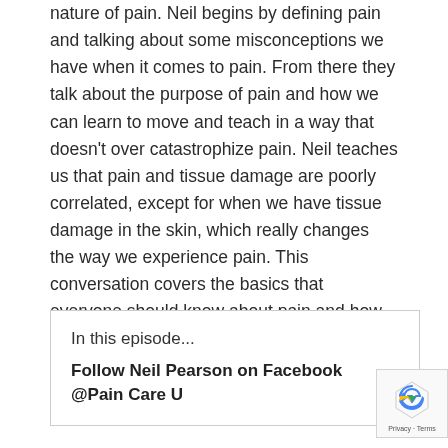nature of pain. Neil begins by defining pain and talking about some misconceptions we have when it comes to pain. From there they talk about the purpose of pain and how we can learn to move and teach in a way that doesn't over catastrophize pain. Neil teaches us that pain and tissue damage are poorly correlated, except for when we have tissue damage in the skin, which really changes the way we experience pain. This conversation covers the basics that everyone should know about pain and how we can navigate our own experiences.
In this episode...
Follow Neil Pearson on Facebook @Pain Care U